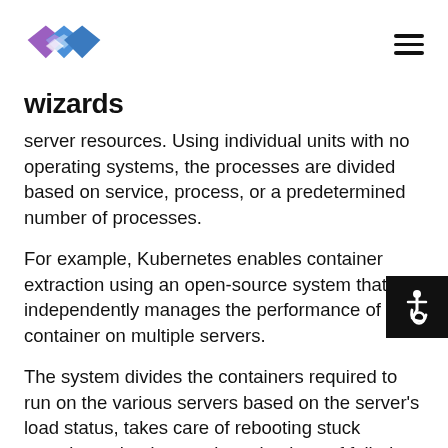[Figure (logo): Wizards logo with diamond-shaped icon in purple and blue, with the word 'wizards' in bold black below]
server resources. Using individual units with no operating systems, the processes are divided based on service, process, or a predetermined number of processes.
For example, Kubernetes enables container extraction using an open-source system that independently manages the performance of the container on multiple servers.
The system divides the containers required to run on the various servers based on the server's load status, takes care of rebooting stuck containers, loads containers in place of failed processes, and can even increase the number of